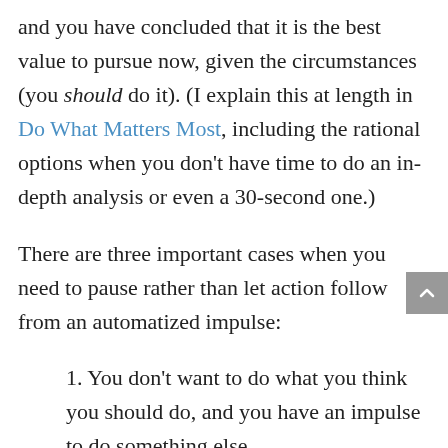and you have concluded that it is the best value to pursue now, given the circumstances (you should do it). (I explain this at length in Do What Matters Most, including the rational options when you don't have time to do an in-depth analysis or even a 30-second one.)
There are three important cases when you need to pause rather than let action follow from an automatized impulse:
1. You don't want to do what you think you should do, and you have an impulse to do something else
2. You notice that an impulse is driving